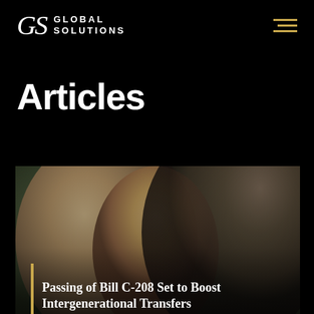[Figure (logo): GS Global Solutions logo — white serif GS letters with GLOBAL SOLUTIONS text beside it, on black background. Hamburger menu icon in gold on right.]
Articles
[Figure (photo): Family photo showing a woman, a child, and a man smiling together, with a dark overlay. Gold vertical bar on left side. Caption text reads: Passing of Bill C-208 Set to Boost Intergenerational Transfers]
Passing of Bill C-208 Set to Boost Intergenerational Transfers